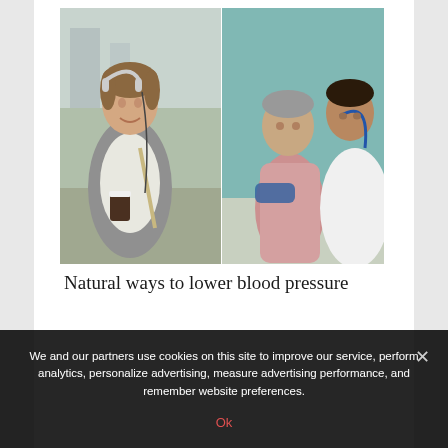[Figure (photo): A composite of two photos side by side: on the left, a woman with headphones wearing a grey blazer and holding a coffee cup outdoors; on the right, a doctor in a white coat using a stethoscope to examine an older male patient seated, checking blood pressure.]
Natural ways to lower blood pressure
We and our partners use cookies on this site to improve our service, perform analytics, personalize advertising, measure advertising performance, and remember website preferences.
Ok